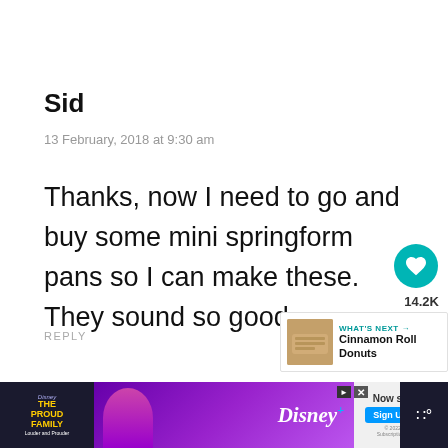Sid
13 February, 2018 at 9:30 am
Thanks, now I need to go and buy some mini springform pans so I can make these. They sound so good.
REPLY
[Figure (screenshot): Like button (heart icon) in teal circle with count 14.2K, and share button below it]
[Figure (screenshot): What's Next panel showing Cinnamon Roll Donuts with thumbnail image]
[Figure (screenshot): The Proud Family Disney+ advertisement banner at bottom of page with Sign Up Now button]